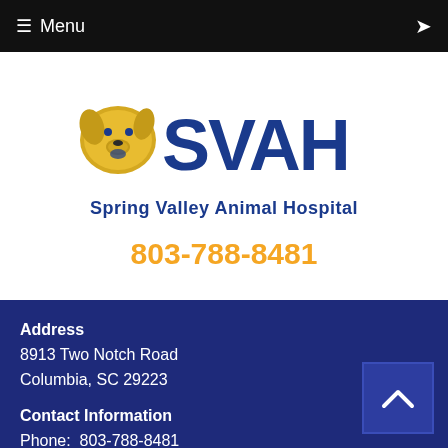≡ Menu
[Figure (logo): SVAH Spring Valley Animal Hospital logo with golden dog illustration and blue SVAH text]
803-788-8481
Address
8913 Two Notch Road
Columbia, SC 29223
Contact Information
Phone:  803-788-8481
svanimalhospital@gmail.com